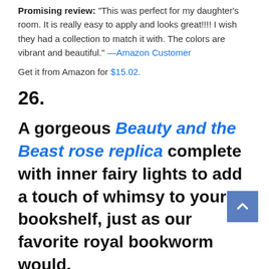Promising review: "This was perfect for my daughter's room. It is really easy to apply and looks great!!!! I wish they had a collection to match it with. The colors are vibrant and beautiful." —Amazon Customer
Get it from Amazon for $15.02.
26.
A gorgeous Beauty and the Beast rose replica complete with inner fairy lights to add a touch of whimsy to your bookshelf, just as our favorite royal bookworm would.
Amazon